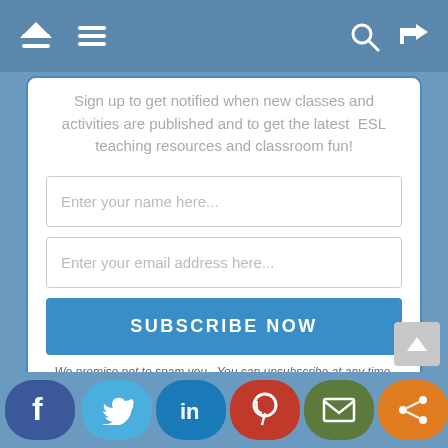[Figure (screenshot): Navigation bar with home icon, hamburger menu, search icon, and shuffle icon on steel blue background]
Sign up to get notified when new classes and activities are published and to get the latest ESL teaching resources and classroom fun!
[Figure (screenshot): Form input field with placeholder text: Enter your name here...]
[Figure (screenshot): Form input field with placeholder text: Enter your email address here...]
[Figure (screenshot): Blue button labeled SUBSCRIBE NOW]
We promise not to spam you. You can unsubscribe at any time.
[Figure (logo): Mmo logo in stylized text]
[Figure (screenshot): Social sharing bar with Facebook, Twitter, LinkedIn, Pinterest, Email, and Share buttons]